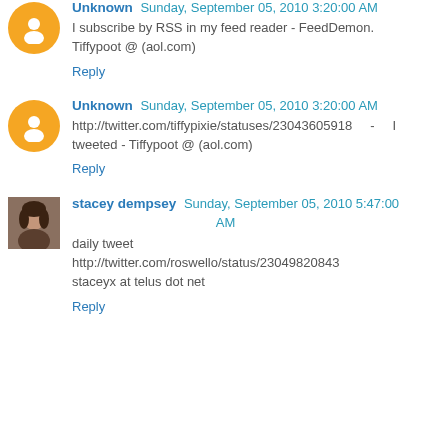Unknown Sunday, September 05, 2010 3:20:00 AM
I subscribe by RSS in my feed reader - FeedDemon.
Tiffypoot @ (aol.com)
Reply
Unknown Sunday, September 05, 2010 3:20:00 AM
http://twitter.com/tiffypixie/statuses/23043605918 - tweeted - Tiffypoot @ (aol.com)
Reply
stacey dempsey Sunday, September 05, 2010 5:47:00 AM
daily tweet
http://twitter.com/roswello/status/23049820843
staceyx at telus dot net
Reply